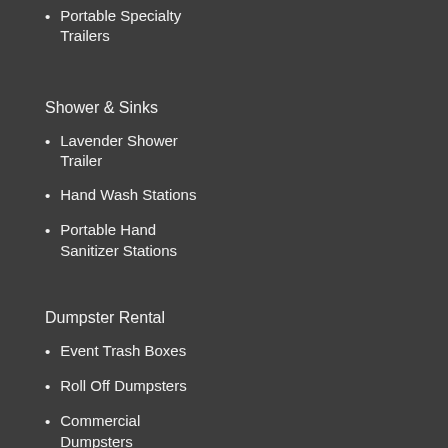Portable Specialty Trailers
Shower & Sinks
Lavender Shower Trailer
Hand Wash Stations
Portable Hand Sanitizer Stations
Dumpster Rental
Event Trash Boxes
Roll Off Dumpsters
Commercial Dumpsters
Garbage & Recycle